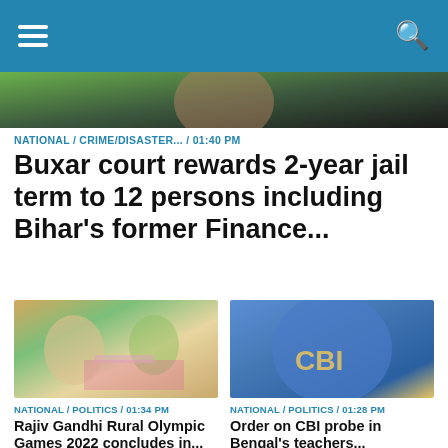Navigation header with hamburger menu and search icon
[Figure (photo): Top cropped photo of a person]
NATIONAL / CRIME/DISASTER... / 01:40 PM
Buxar court rewards 2-year jail term to 12 persons including Bihar's former Finance...
[Figure (photo): Crowd at Rajiv Gandhi Rural Olympic Games rally with banners and trees in background]
NATIONAL / POLITICS / 01:34 PM
Rajiv Gandhi Rural Olympic Games 2022 concludes in...
[Figure (photo): CBI officer back view showing CBI logo on blue jacket]
NATIONAL / POLITICS / 01:28 PM
Order on CBI probe in Bengal's teachers...
[Figure (photo): Bottom left: blurred face photo]
[Figure (photo): Bottom right: outdoor rally with Urdu banner]